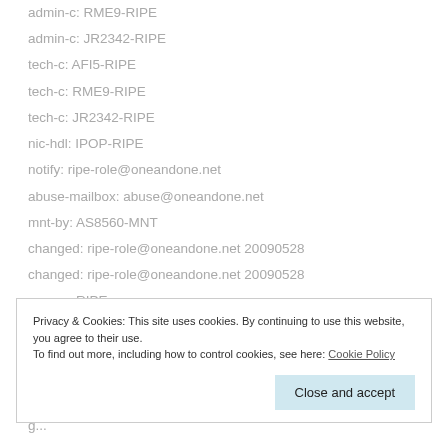admin-c: RME9-RIPE
admin-c: JR2342-RIPE
tech-c: AFI5-RIPE
tech-c: RME9-RIPE
tech-c: JR2342-RIPE
nic-hdl: IPOP-RIPE
notify: ripe-role@oneandone.net
abuse-mailbox: abuse@oneandone.net
mnt-by: AS8560-MNT
changed: ripe-role@oneandone.net 20090528
changed: ripe-role@oneandone.net 20090528
source: RIPE
Privacy & Cookies: This site uses cookies. By continuing to use this website, you agree to their use.
To find out more, including how to control cookies, see here: Cookie Policy
Close and accept